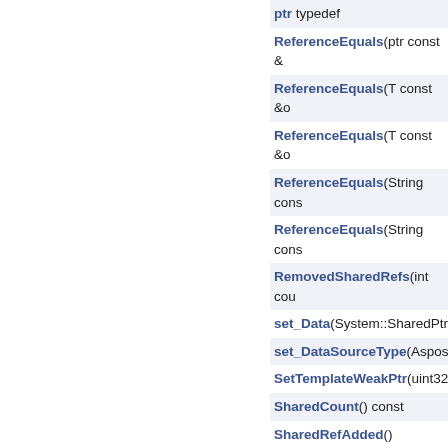ptr typedef
ReferenceEquals(ptr const &
ReferenceEquals(T const &o
ReferenceEquals(T const &o
ReferenceEquals(String cons
ReferenceEquals(String cons
RemovedSharedRefs(int cou
set_Data(System::SharedPtr<
set_DataSourceType(Aspose
SetTemplateWeakPtr(uint32_
SharedCount() const
SharedRefAdded()
SharedRefRemovedSafe()
ToString() const
Type()
Unlock()
WeakRefAdded()
WeakRefRemoved()
~Object()